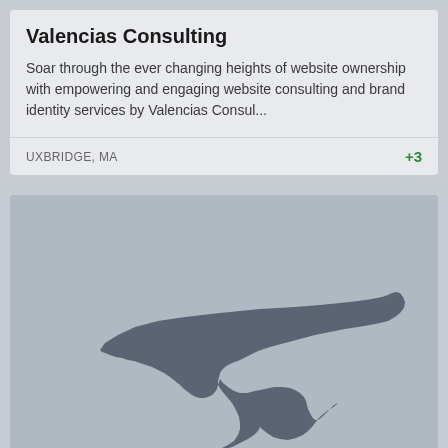Valencias Consulting
Soar through the ever changing heights of website ownership with empowering and engaging website consulting and brand identity services by Valencias Consul...
UXBRIDGE, MA
+3
[Figure (map): Silhouette map of Massachusetts state in dark gray on a lighter gray background]
Prokofiev Creative Services (PCS)